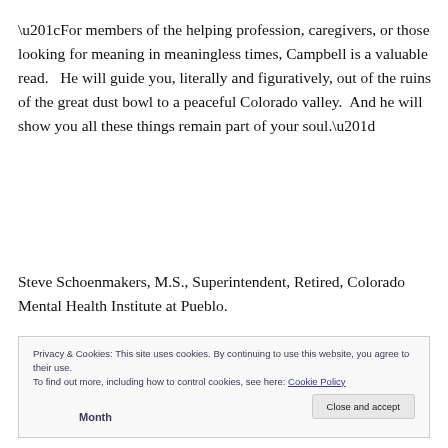“For members of the helping profession, caregivers, or those looking for meaning in meaningless times, Campbell is a valuable read.   He will guide you, literally and figuratively, out of the ruins of the great dust bowl to a peaceful Colorado valley.  And he will show you all these things remain part of your soul.”
Steve Schoenmakers, M.S., Superintendent, Retired, Colorado Mental Health Institute at Pueblo.
Privacy & Cookies: This site uses cookies. By continuing to use this website, you agree to their use.
To find out more, including how to control cookies, see here: Cookie Policy
Close and accept
Month